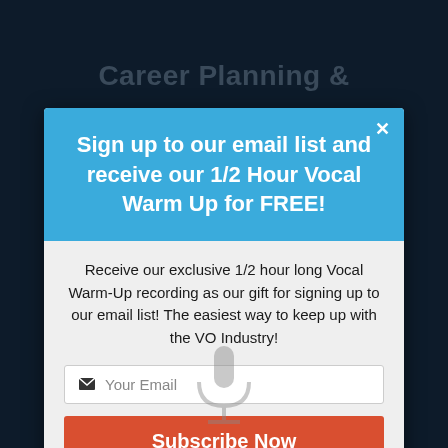Career Planning &
Sign up to our email list and receive our 1/2 Hour Vocal Warm Up for FREE!
Receive our exclusive 1/2 hour long Vocal Warm-Up recording as our gift for signing up to our email list! The easiest way to keep up with the VO Industry!
Your Email
Subscribe Now
We respect your privacy.